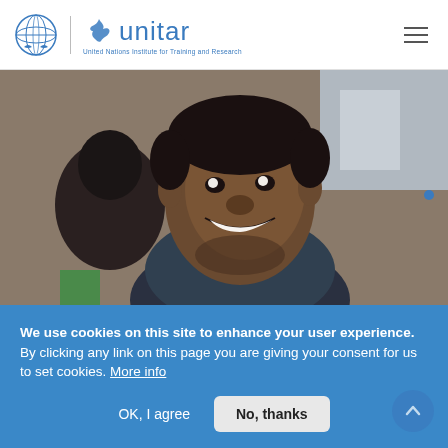[Figure (logo): UNITAR logo — UN globe icon, vertical divider, bird/flame icon, 'unitar' wordmark in blue, subtitle 'United Nations Institute for Training and Research']
[Figure (photo): Close-up photo of a smiling young African man with another person partially visible behind him, outdoor setting]
We use cookies on this site to enhance your user experience.  By clicking any link on this page you are giving your consent for us to set cookies. More info
OK, I agree
No, thanks